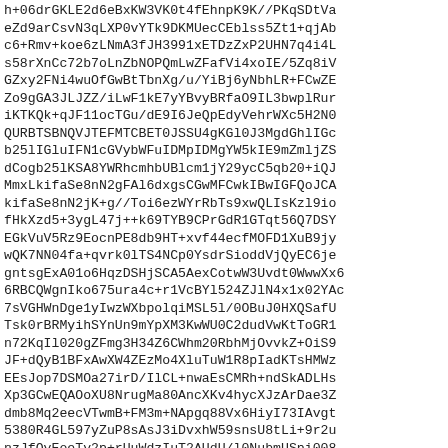h+06drGKLE2d6eBxKW3VK0t4fEhnpK9K//PKqSDtVa
eZd9arCsvN3qLXP0vYTk9DKMUecCEblss5Zt1+qjAb
c6+Rmv+koe6zLNmA3fJH3991xETDzZxP2UHN7q4i4L
s58rXnCc72b7oLnZbNOPQmLwZFafVi4xoIE/5Zq8iV
GZxy2FNi4wuOfGwBtTbnXg/u/YiBj6yNbhLR+FCwZE
Zo9gGA3JLJZZ/iLwF1kE7yYBvyBRfaO9IL3bwplRur
iKTKQk+qJF11ocTGu/dE9I6JeQpEdyVehrWXc5H2N0
QURBTSBNQVJTEFMTCBET0JSSU4gKGl0J3MgdGhlIGc
b25lIGluIFN1cGVybWFuIDMpIDMgYW5kIE9mZmljZS
dCogb25lKSA8YWRhcmhbUBlcm1jY29ycC5qb20+iQJ
MmxLkifaSe8nN2gFAl6dxgsCGwMFCwkIBwIGFQoJCA
kifaSe8nN2jK+g//Toi6ezWYrRbTs9xwQLIsKzl9io
fHkXzd5+3ygL47j++k69TYB9CPrGdR1GTqt56Q7DSY
EGkVuV5Rz9EocnPE8db9HT+xvf44ecfMOFD1XuB9jy
wQK7NN04fa+qvrk0lTS4NCp0YsdrSioddVjQyEC6je
gntsgExA01o6HqzDSHjSCA5AexCotwW3Uvdt0WwwXx6
6RBCQWgnIko675ura4c+r1VcBYl524ZJlN4x1x02YAc
7sVGHWnDge1yIwzWXbpolqiMSL5l/0OBuJ0HXQSafU
Tsk0rBRMyihSYnUn9mYpXM3KwWU0C2dudVwKtToGR1
n72KqIl020gZFmg3H34Z6CWhm20RbhMjOvvkZ+OiS9
JF+dQyB1BFxAwXW4ZEzMo4XluTuW1R8pIadKTsHMWz
EEsJop7DSMOa27irD/IlCL+nwaEsCMRh+ndSkADLHs
Xp3GCwEQAOoXU8NrugMa80AncXKv4hycXJzArDae3Z
dmb8Mq2eecVTwmB+FM3m+NApgq88Vx6HiyI73IAvgt
5380R4GL597yZuP8sAsJ3iDvxhW59snsU8tLi+9r2u
nzJfQyEoeTy2p+rUuWdzIuT2AUdU/l0NubmUSpi008